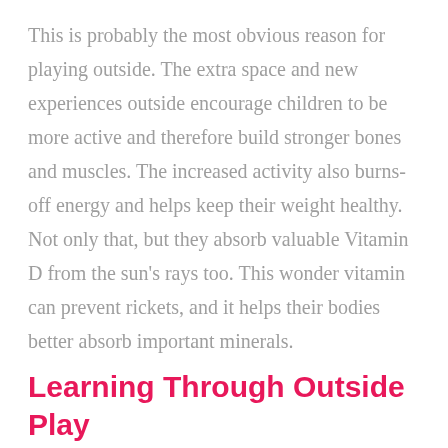This is probably the most obvious reason for playing outside. The extra space and new experiences outside encourage children to be more active and therefore build stronger bones and muscles. The increased activity also burns-off energy and helps keep their weight healthy. Not only that, but they absorb valuable Vitamin D from the sun's rays too. This wonder vitamin can prevent rickets, and it helps their bodies better absorb important minerals.
Learning Through Outside Play